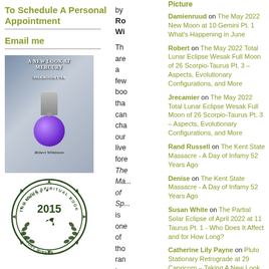To Schedule A Personal Appointment
Email me
[Figure (photo): Book cover: A New Look at Mercury Retrograde by Robert Wilkinson, featuring a silver figure on a purple sphere against a grey background]
[Figure (logo): The Indie Spiritual Book Awards 2015 Category Winner circular badge with bird and laurel wreath]
by Robert Wilkinson
There are a few books that can change our lives forever. The Ma... of Sp... is one of those ran... tre...
Picture
Damienruud on The May 2022 New Moon at 10 Gemini Pt. 1 What's Happening in June
Robert on The May 2022 Total Lunar Eclipse Wesak Full Moon of 26 Scorpio-Taurus Pt. 3 – Aspects, Evolutionary Configurations, and More
Jrecamier on The May 2022 Total Lunar Eclipse Wesak Full Moon of 26 Scorpio-Taurus Pt. 3 – Aspects, Evolutionary Configurations, and More
Rand Russell on The Kent State Massacre - A Day of Infamy 52 Years Ago
Denise on The Kent State Massacre - A Day of Infamy 52 Years Ago
Susan White on The Partial Solar Eclipse of April 2022 at 11 Taurus Pt. 1 - Who Does It Affect and for How Long?
Catherine Lily Payne on Pluto Stationary Retrograde at 29 Capricorn – Taking A New Look At...